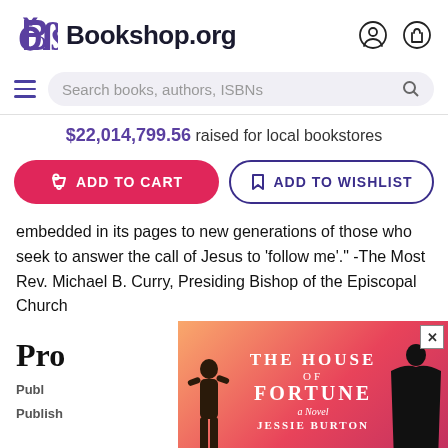[Figure (screenshot): Bookshop.org logo with stylized B in purple and bold text 'Bookshop.org', plus user account and cart icons on the right]
[Figure (screenshot): Navigation bar with hamburger menu and search input bar reading 'Search books, authors, ISBNs' with magnifying glass icon]
$22,014,799.56 raised for local bookstores
[Figure (screenshot): Two buttons: pink 'ADD TO CART' button with cart icon, and outlined 'ADD TO WISHLIST' button with bookmark icon]
embedded in its pages to new generations of those who seek to answer the call of Jesus to 'follow me'.' -The Most Rev. Michael B. Curry, Presiding Bishop of the Episcopal Church
Pro
Publ
Publish
[Figure (illustration): Advertisement overlay for 'The House of Fortune: A Novel' by Jessie Burton, with gradient orange-pink-red background, white text, a figure on left and a cloaked figure on right, and close button X in top right corner]